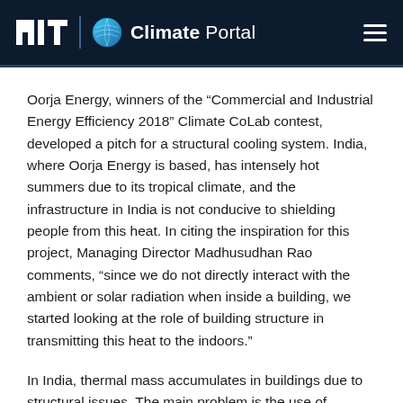MIT Climate Portal
Oorja Energy, winners of the “Commercial and Industrial Energy Efficiency 2018” Climate CoLab contest, developed a pitch for a structural cooling system. India, where Oorja Energy is based, has intensely hot summers due to its tropical climate, and the infrastructure in India is not conducive to shielding people from this heat. In citing the inspiration for this project, Managing Director Madhusudhan Rao comments, “since we do not directly interact with the ambient or solar radiation when inside a building, we started looking at the role of building structure in transmitting this heat to the indoors.”
In India, thermal mass accumulates in buildings due to structural issues. The main problem is the use of